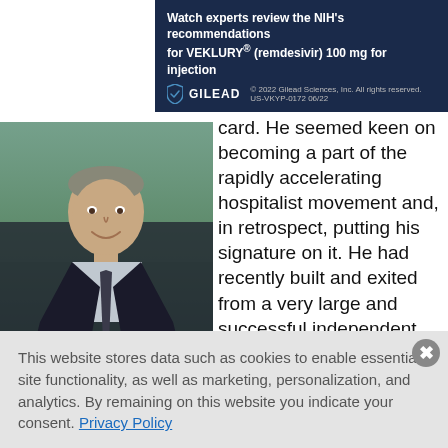[Figure (other): Gilead advertisement banner: 'Watch experts review the NIH's recommendations for VEKLURY® (remdesivir) 100 mg for injection'. Gilead logo. © 2022 Gilead Sciences, Inc. All rights reserved. US-VKYP-0172 06/22]
[Figure (photo): Professional headshot photo of Dr. Larry Wellikson, a man in a dark suit and tie, smiling, against a blurred outdoor background]
Dr. Larry Wellikson
card. He seemed keen on becoming a part of the rapidly accelerating hospitalist movement and, in retrospect, putting his signature on it. He had recently built and exited from a very large and successful independent physician association during the heyday of California managed care and was eager for a new challenge.
This website stores data such as cookies to enable essential site functionality, as well as marketing, personalization, and analytics. By remaining on this website you indicate your consent. Privacy Policy